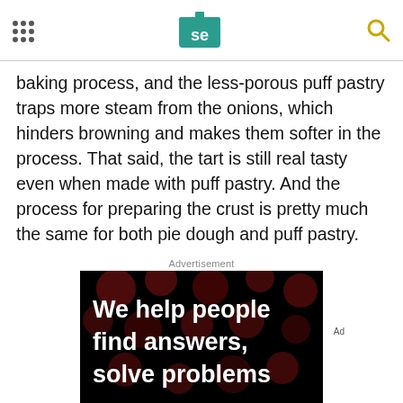Serious Eats header with logo and navigation dots and search icon
baking process, and the less-porous puff pastry traps more steam from the onions, which hinders browning and makes them softer in the process. That said, the tart is still real tasty even when made with puff pastry. And the process for preparing the crust is pretty much the same for both pie dough and puff pastry.
Advertisement
[Figure (other): Advertisement banner with black background, dark red bokeh circles, white bold text reading 'We help people find answers, solve problems', and a footer bar with smaller text 'We help people find answers, solve problems and get inspired.' with Dotdash Meredith logo]